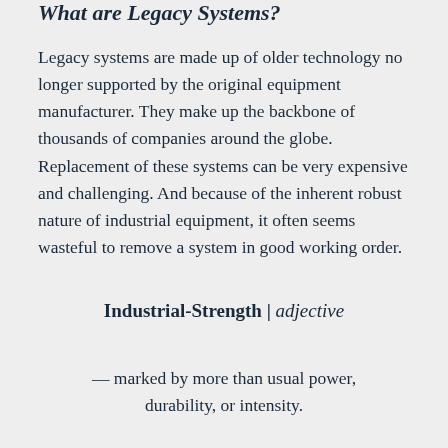What are Legacy Systems?
Legacy systems are made up of older technology no longer supported by the original equipment manufacturer. They make up the backbone of thousands of companies around the globe.   Replacement of these systems can be very expensive and challenging. And because of the inherent robust nature of industrial equipment, it often seems wasteful to remove a system in good working order.
Industrial-Strength | adjective
— marked by more than usual power, durability, or intensity.